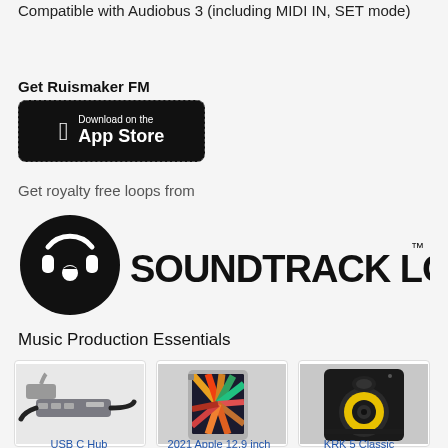Compatible with Audiobus 3 (including MIDI IN, SET mode)
Get Ruismaker FM
[Figure (other): Download on the App Store button (black rounded rectangle with Apple logo)]
Get royalty free loops from
[Figure (logo): Soundtrack Loops logo — circular headphones icon followed by bold text SOUNDTRACK LOOPS with TM mark]
Music Production Essentials
[Figure (photo): USB-C Hub product photo — grey multi-port hub with cables]
[Figure (photo): 2021 Apple 12.9-inch iPad Pro product photo — showing colorful starburst wallpaper]
[Figure (photo): KRK 5 Classic studio monitor speaker — black cabinet with yellow woofer]
USB C Hub
2021 Apple 12.9 inch
KRK 5 Classic